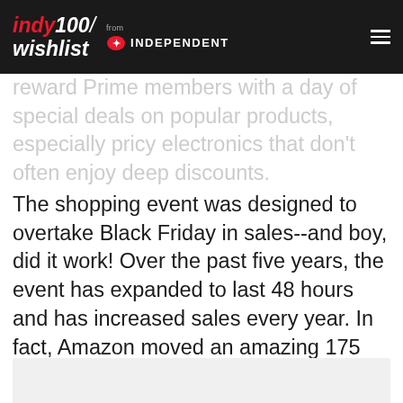indy100/wishlist from INDEPENDENT
reward Prime members with a day of special deals on popular products, especially pricy electronics that don't often enjoy deep discounts.
The shopping event was designed to overtake Black Friday in sales--and boy, did it work! Over the past five years, the event has expanded to last 48 hours and has increased sales every year. In fact, Amazon moved an amazing 175 million items during Prime Day 2019, generating about $7 billion in sales. This year's Prime Day is actually 2 days! October 13th and 14th! Read on for some great deals we think will show up and some history of the day.
[Figure (other): Gray placeholder box at the bottom of the page]